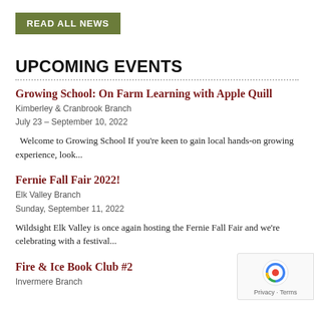READ ALL NEWS
UPCOMING EVENTS
Growing School: On Farm Learning with Apple Quill
Kimberley & Cranbrook Branch
July 23 – September 10, 2022
Welcome to Growing School  If you're keen to gain local hands-on growing experience, look...
Fernie Fall Fair 2022!
Elk Valley Branch
Sunday, September 11, 2022
Wildsight Elk Valley is once again hosting the Fernie Fall Fair and we're celebrating with a festival...
Fire & Ice Book Club #2
Invermere Branch